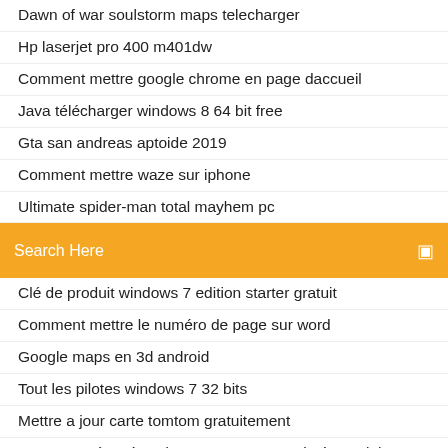Dawn of war soulstorm maps telecharger
Hp laserjet pro 400 m401dw
Comment mettre google chrome en page daccueil
Java télécharger windows 8 64 bit free
Gta san andreas aptoide 2019
Comment mettre waze sur iphone
Ultimate spider-man total mayhem pc
[Figure (screenshot): Orange search bar with white text 'Search Here' and a search icon on the right]
Clé de produit windows 7 edition starter gratuit
Comment mettre le numéro de page sur word
Google maps en 3d android
Tout les pilotes windows 7 32 bits
Mettre a jour carte tomtom gratuitement
Comment récupérer des messages supprimés sur iphone 8
Fond decran ps3 a telecharger gratuitement
Test webcam windows 10 skype
Windows 7 photo viewer software gratuit télécharger
Montage photo et video avec musique